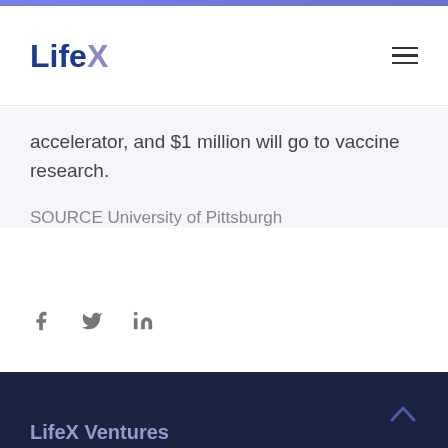LifeX
accelerator, and $1 million will go to vaccine research.
SOURCE University of Pittsburgh
[Figure (illustration): Social media share icons: Facebook, Twitter, LinkedIn]
LifeX Ventures